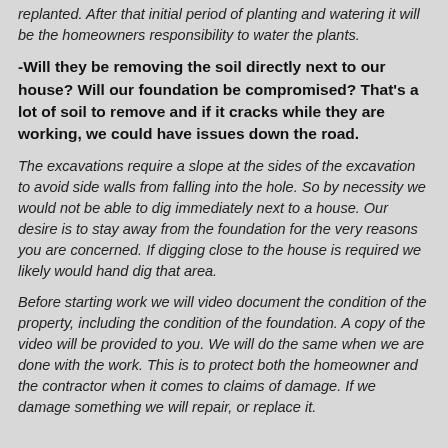replanted. After that initial period of planting and watering it will be the homeowners responsibility to water the plants.
-Will they be removing the soil directly next to our house? Will our foundation be compromised? That's a lot of soil to remove and if it cracks while they are working, we could have issues down the road.
The excavations require a slope at the sides of the excavation to avoid side walls from falling into the hole. So by necessity we would not be able to dig immediately next to a house. Our desire is to stay away from the foundation for the very reasons you are concerned. If digging close to the house is required we likely would hand dig that area.
Before starting work we will video document the condition of the property, including the condition of the foundation. A copy of the video will be provided to you. We will do the same when we are done with the work. This is to protect both the homeowner and the contractor when it comes to claims of damage. If we damage something we will repair, or replace it.